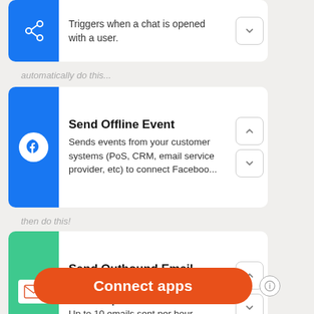[Figure (screenshot): Top partial card showing a blue icon and text 'Triggers when a chat is opened with a user.' with a down arrow button.]
automatically do this...
[Figure (screenshot): Card with Facebook icon. Title: Send Offline Event. Description: Sends events from your customer systems (PoS, CRM, email service provider, etc) to connect Faceboo... With up and down arrow buttons.]
then do this!
[Figure (screenshot): Card with teal email icon. Title: Send Outbound Email. Description: Send an email from your own custom zapiermail.com address. Up to 10 emails sent per hour. With up and down arrow buttons.]
Connect apps